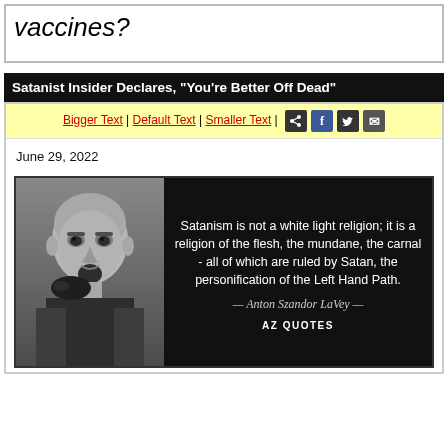vaccines?
Satanist Insider Declares, "You're Better Off Dead"
Bigger Text | Default Text | Smaller Text |
June 29, 2022
[Figure (photo): Quote image: Black and white photo of Anton Szandor LaVey on the left, with a quote on black background on the right reading: 'Satanism is not a white light religion; it is a religion of the flesh, the mundane, the carnal - all of which are ruled by Satan, the personification of the Left Hand Path.' — Anton Szandor LaVey — AZ QUOTES]